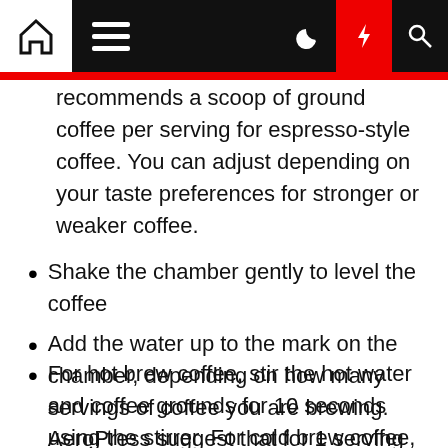Navigation bar with home, menu, moon, lightning, and search icons
recommends a scoop of ground coffee per serving for espresso-style coffee. You can adjust depending on your taste preferences for stronger or weaker coffee.
Shake the chamber gently to level the coffee
Add the water up to the mark on the chamber, depending on how many servings of coffee you are brewing. AeroPress suggest that for 1 serving and 1 scoop, fill to the "1" line; however, as with the coffee amount you can adjust to taste.
For hot brew coffee, stir the hot water and coffee grounds for 10 seconds using the stirrer. For cold brew coffee, stir for 1